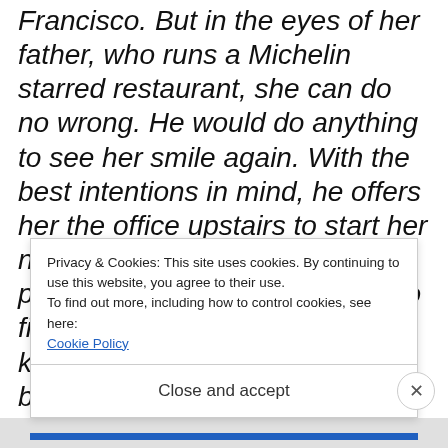Francisco. But in the eyes of her father, who runs a Michelin starred restaurant, she can do no wrong. He would do anything to see her smile again. With the best intentions in mind, he offers her the office upstairs to start her new business and creates a profile on an online dating site to find her a man. She doesn't know he's arranged a series of blind dates until the first one comes knocking on her door.
Privacy & Cookies: This site uses cookies. By continuing to use this website, you agree to their use.
To find out more, including how to control cookies, see here: Cookie Policy
Close and accept